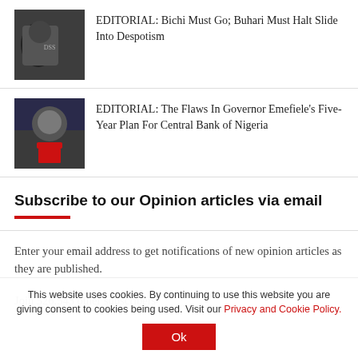EDITORIAL: Bichi Must Go; Buhari Must Halt Slide Into Despotism
EDITORIAL: The Flaws In Governor Emefiele's Five-Year Plan For Central Bank of Nigeria
Subscribe to our Opinion articles via email
Enter your email address to get notifications of new opinion articles as they are published.
Join 526,543 other subscribers
This website uses cookies. By continuing to use this website you are giving consent to cookies being used. Visit our Privacy and Cookie Policy.